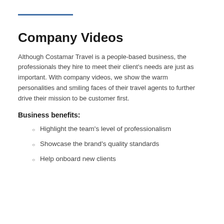Company Videos
Although Costamar Travel is a people-based business, the professionals they hire to meet their client's needs are just as important. With company videos, we show the warm personalities and smiling faces of their travel agents to further drive their mission to be customer first.
Business benefits:
Highlight the team's level of professionalism
Showcase the brand's quality standards
Help onboard new clients